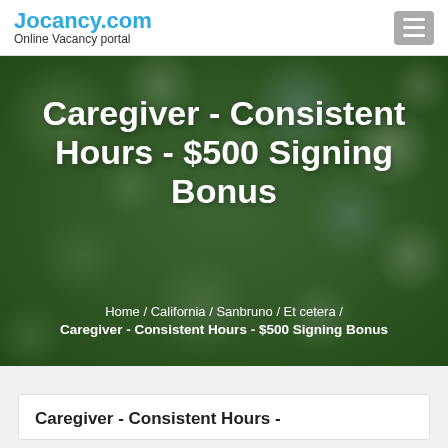Jocancy.com Online Vacancy portal
[Figure (photo): Blurred green bokeh background hero image with white text overlay showing job listing title and breadcrumb navigation]
Caregiver - Consistent Hours - $500 Signing Bonus
Home / California / Sanbruno / Et cetera / Caregiver - Consistent Hours - $500 Signing Bonus
Caregiver - Consistent Hours -